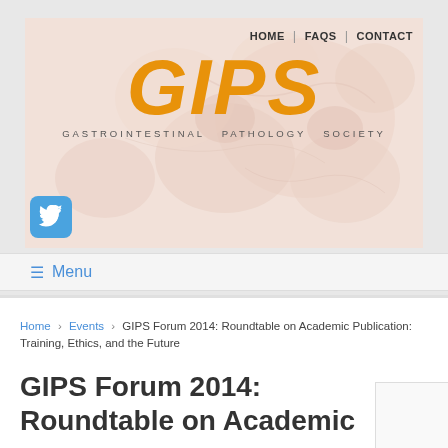[Figure (logo): GIPS Gastrointestinal Pathology Society logo with orange italic letters on tissue background, with navigation links HOME, FAQS, CONTACT and a Twitter button]
≡ Menu
Home › Events › GIPS Forum 2014: Roundtable on Academic Publication: Training, Ethics, and the Future
GIPS Forum 2014: Roundtable on Academic